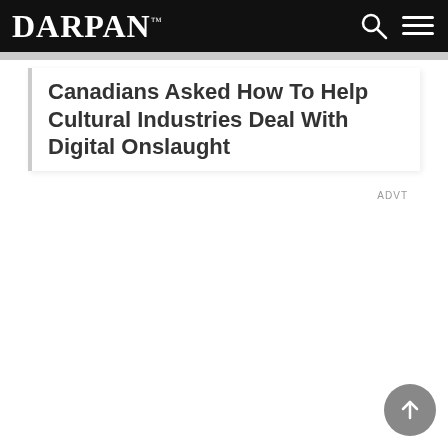DARPAN™
Canadians Asked How To Help Cultural Industries Deal With Digital Onslaught
ADVT